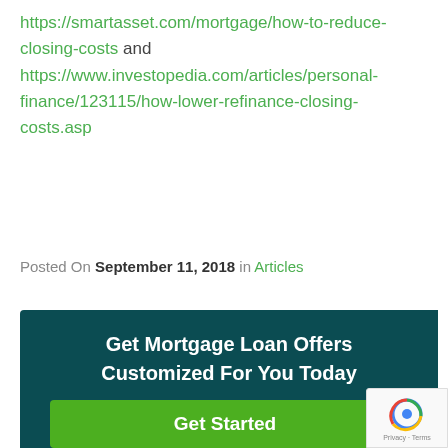https://smartasset.com/mortgage/how-to-reduce-closing-costs and https://www.investopedia.com/articles/personal-finance/123115/how-lower-refinance-closing-costs.asp
Posted On September 11, 2018 in Articles
Get Mortgage Loan Offers Customized For You Today
Get Started